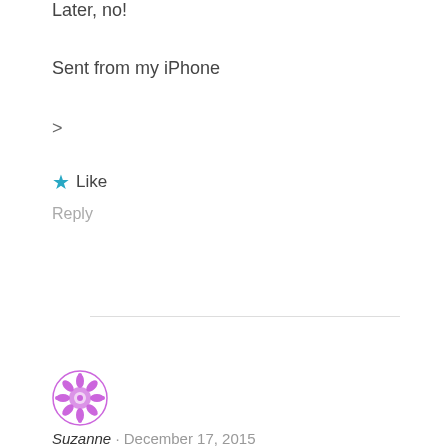Later, no!
Sent from my iPhone
>
★ Like
Reply
[Figure (illustration): Purple decorative avatar icon for user Suzanne]
Suzanne · December 17, 2015